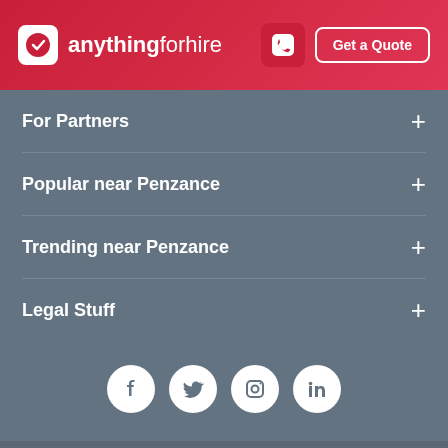[Figure (logo): anythingforhire logo with phone button and Get a Quote button on red gradient header]
For Partners +
Popular near Penzance +
Trending near Penzance +
Legal Stuff +
[Figure (illustration): Social media icons: Facebook, Twitter, Instagram, LinkedIn - white circles on grey background]
©2022 Copyright AFH Ltd. All rights reserved.